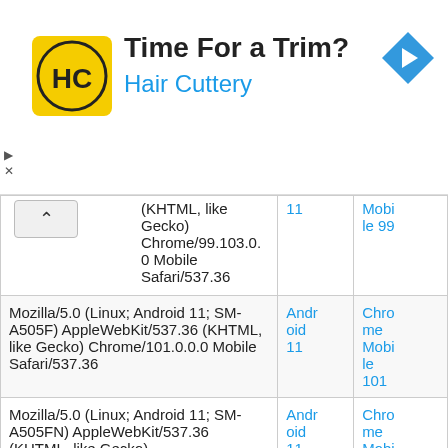[Figure (other): Hair Cuttery advertisement banner with logo, tagline 'Time For a Trim?' and navigation arrow icon]
| User Agent | OS | Browser |
| --- | --- | --- |
| (KHTML, like Gecko) Chrome/99.103.0.0 Mobile Safari/537.36 | 11 | Mobile 99 |
| Mozilla/5.0 (Linux; Android 11; SM-A505F) AppleWebKit/537.36 (KHTML, like Gecko) Chrome/101.0.0.0 Mobile Safari/537.36 | Android 11 | Chrome Mobile 101 |
| Mozilla/5.0 (Linux; Android 11; SM-A505FN) AppleWebKit/537.36 (KHTML, like Gecko) Chrome/103.0.0.0 Mobile Safari/537.36 | Android 11 | Chrome Mobile 103 |